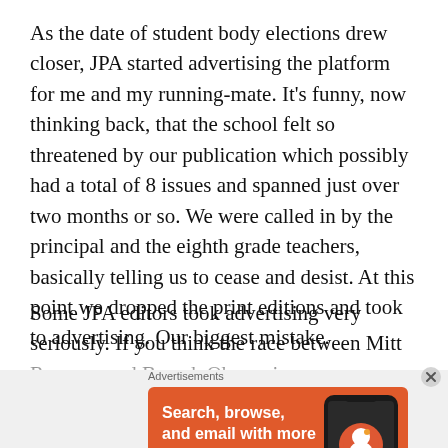As the date of student body elections drew closer, JPA started advertising the platform for me and my running-mate. It's funny, now thinking back, that the school felt so threatened by our publication which possibly had a total of 8 issues and spanned just over two months or so. We were called in by the principal and the eighth grade teachers, basically telling us to cease and desist. At this point we dropped the print editions and took to advertising. Our biggest mistake.
Some JPA editors took advertising very seriously. If you think the race between Mitt Romney and Barack Obama in
[Figure (other): DuckDuckGo advertisement banner with orange background. Text reads: Search, browse, and email with more privacy. All in One Free App. Shows a smartphone image and DuckDuckGo logo.]